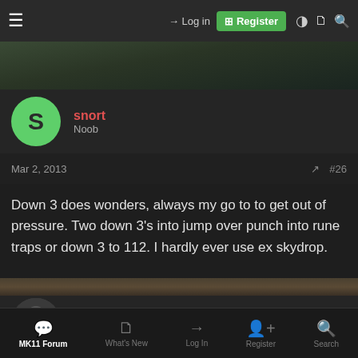Log in | Register
[Figure (screenshot): Dark banner/hero image strip at top of forum page]
snort
Noob
Mar 2, 2013   #26
Down 3 does wonders, always my go to to get out of pressure. Two down 3's into jump over punch into rune traps or down 3 to 112. I hardly ever use ex skydrop.
[Figure (screenshot): Dark banner divider strip between forum posts]
KingRey
Noob
Mar 2, 2013   #27
MK11 Forum | What's New | Log In | Register | Search